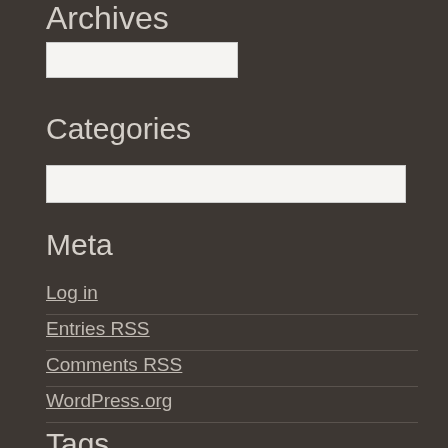Archives
[Figure (other): Archives dropdown select box]
Categories
[Figure (other): Categories dropdown select box]
Meta
Log in
Entries RSS
Comments RSS
WordPress.org
Tags
#SARC-CoV-2
aerosols
air